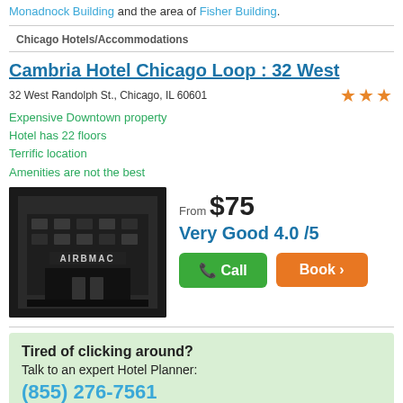Monadnock Building and the area of Fisher Building.
Chicago Hotels/Accommodations
Cambria Hotel Chicago Loop : 32 West
32 West Randolph St., Chicago, IL 60601
Expensive Downtown property
Hotel has 22 floors
Terrific location
Amenities are not the best
[Figure (photo): Hotel exterior photo showing CAMBRIA signage on a dark building facade]
From $75
Very Good 4.0 /5
Call | Book >
Tired of clicking around? Talk to an expert Hotel Planner: (855) 276-7561 or say...